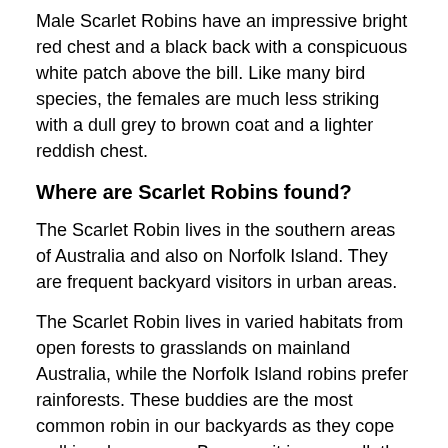Male Scarlet Robins have an impressive bright red chest and a black back with a conspicuous white patch above the bill. Like many bird species, the females are much less striking with a dull grey to brown coat and a lighter reddish chest.
Where are Scarlet Robins found?
The Scarlet Robin lives in the southern areas of Australia and also on Norfolk Island. They are frequent backyard visitors in urban areas.
The Scarlet Robin lives in varied habitats from open forests to grasslands on mainland Australia, while the Norfolk Island robins prefer rainforests. These buddies are the most common robin in our backyards as they cope well in urban areas. Because it is so small, the Scarlet Robin prefers areas with a thick undergrowth to hide in and to offer protection for its nest.